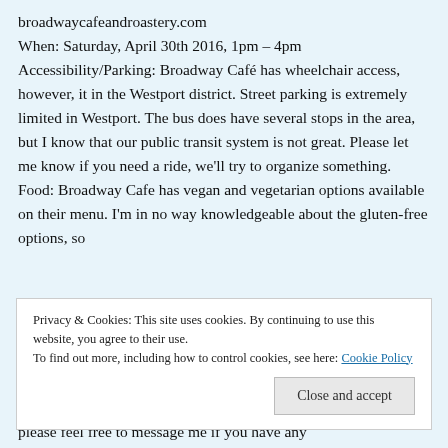broadwaycafeandroastery.com
When: Saturday, April 30th 2016, 1pm – 4pm
Accessibility/Parking: Broadway Café has wheelchair access, however, it in the Westport district. Street parking is extremely limited in Westport. The bus does have several stops in the area, but I know that our public transit system is not great. Please let me know if you need a ride, we'll try to organize something.
Food: Broadway Cafe has vegan and vegetarian options available on their menu. I'm in no way knowledgeable about the gluten-free options, so
Privacy & Cookies: This site uses cookies. By continuing to use this website, you agree to their use.
To find out more, including how to control cookies, see here: Cookie Policy
Close and accept
please feel free to message me if you have any